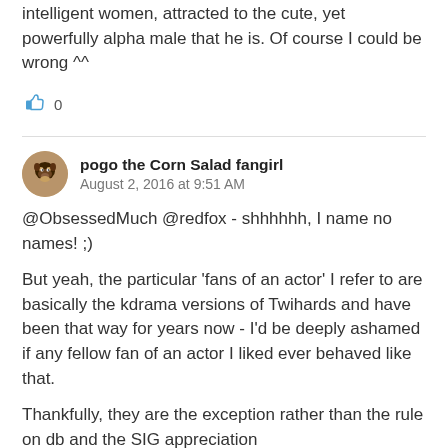intelligent women, attracted to the cute, yet powerfully alpha male that he is. Of course I could be wrong ^^
[Figure (other): Thumbs up like icon with count 0]
pogo the Corn Salad fangirl
August 2, 2016 at 9:51 AM
@ObsessedMuch @redfox - shhhhhh, I name no names! ;)

But yeah, the particular 'fans of an actor' I refer to are basically the kdrama versions of Twihards and have been that way for years now - I'd be deeply ashamed if any fellow fan of an actor I liked ever behaved like that.

Thankfully, they are the exception rather than the rule on db and the SIG appreciation